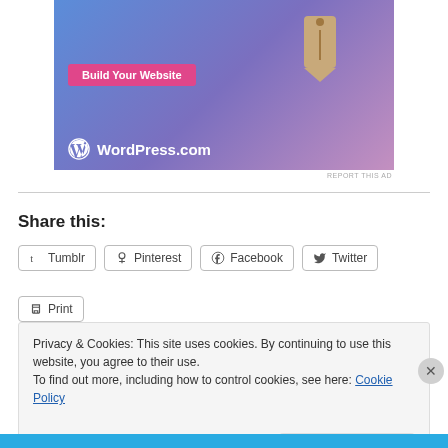[Figure (illustration): WordPress.com advertisement banner with blue-purple gradient background, a tan price tag icon, a pink 'Build Your Website' button, and the WordPress.com logo with text]
REPORT THIS AD
Share this:
Tumblr
Pinterest
Facebook
Twitter
Print
Privacy & Cookies: This site uses cookies. By continuing to use this website, you agree to their use.
To find out more, including how to control cookies, see here: Cookie Policy
Close and accept